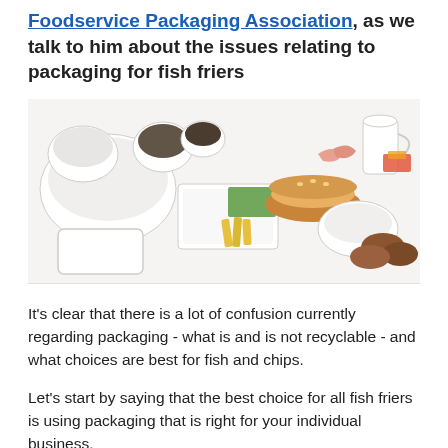Foodservice Packaging Association, as we talk to him about the issues relating to packaging for fish friers
[Figure (photo): A spread of foodservice packaging containers filled with various foods including a burger, chips, shrimp, sauces, and other items, displayed on a white surface.]
It's clear that there is a lot of confusion currently regarding packaging - what is and is not recyclable - and what choices are best for fish and chips.
Let's start by saying that the best choice for all fish friers is using packaging that is right for your individual business,